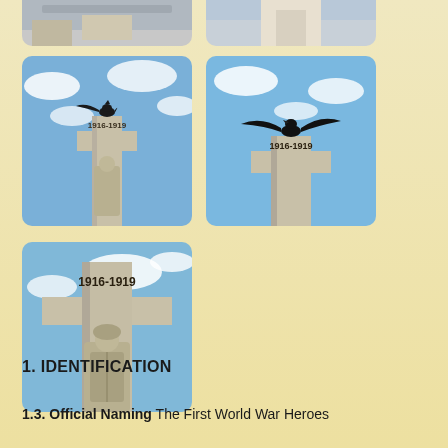[Figure (photo): Partial top view of two war memorial photos — truncated at top of page]
[Figure (photo): War memorial cross with a black bird (eagle/crow) perched on top, dated 1916-1919, against a blue cloudy sky — left photo]
[Figure (photo): War memorial cross with a black bird (eagle/crow) with wings spread, dated 1916-1919, against a blue cloudy sky — right photo]
[Figure (photo): War memorial cross close-up, dated 1916-1919, with carved soldier figure, against a blue sky — larger photo bottom left]
1. IDENTIFICATION
1.3. Official Naming The First World War Heroes